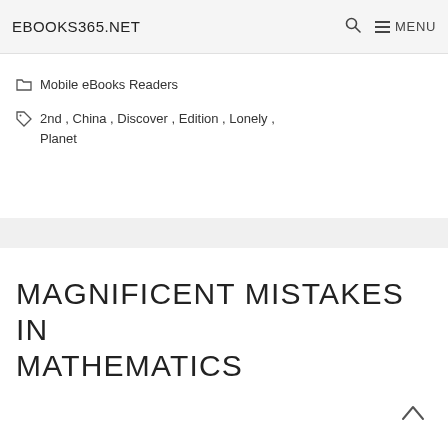EBOOKS365.NET    🔍  ☰ MENU
Categories: Mobile eBooks Readers
Tags: 2nd, China, Discover, Edition, Lonely, Planet
MAGNIFICENT MISTAKES IN MATHEMATICS